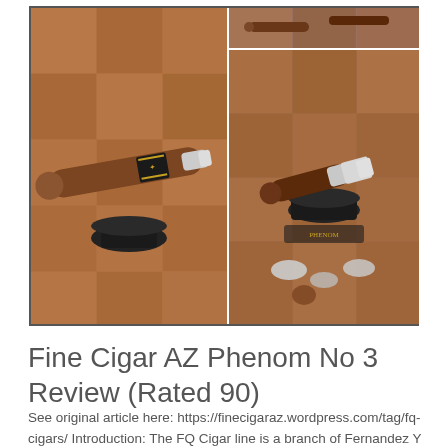[Figure (photo): Composite of two/three photos showing a brown cigar with decorative band resting on a black stand on a tiled surface, and a close-up of the cigar after being smoked with ash and remnants visible.]
Fine Cigar AZ Phenom No 3 Review (Rated 90)
See original article here: https://finecigaraz.wordpress.com/tag/fq-cigars/ Introduction: The FQ Cigar line is a branch of Fernandez Y Quiroga, LLC is the work of Matthew Hunt and was founded in 2013. As of now the have three offerings on the market, the Phenom No 1, Phenom No 2, and the Phenom No 3. All three are robusto vitolas in a 5×50. The cigars smoked for this review were provided by Matthew Hunt and were the Phenom No 3. Appearance/Construction: The